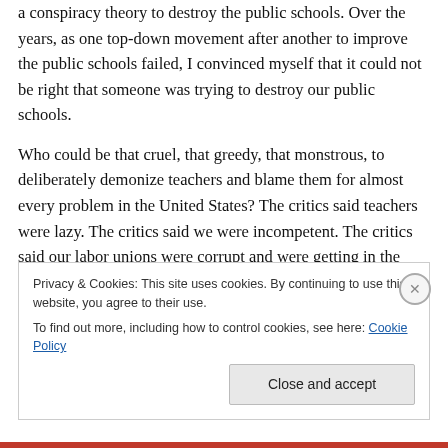a conspiracy theory to destroy the public schools. Over the years, as one top-down movement after another to improve the public schools failed, I convinced myself that it could not be right that someone was trying to destroy our public schools.
Who could be that cruel, that greedy, that monstrous, to deliberately demonize teachers and blame them for almost every problem in the United States? The critics said teachers were lazy. The critics said we were incompetent. The critics said our labor unions were corrupt and were getting in the way of improving the public schools.
Privacy & Cookies: This site uses cookies. By continuing to use this website, you agree to their use.
To find out more, including how to control cookies, see here: Cookie Policy